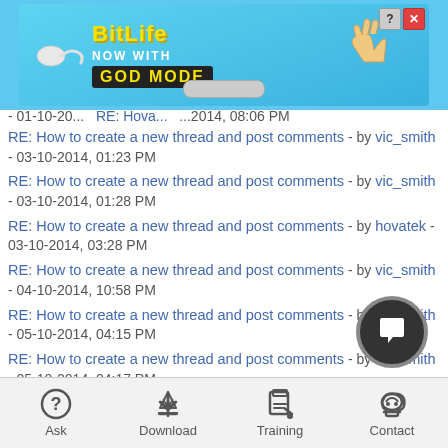[Figure (other): BitLife advertisement banner - NOW WITH GOD MODE]
RE: How to create a new thread and post comments - by vic_smith - 03-10-2014, 01:23 PM
RE: How to create a new thread and post comments - by vic_smith - 03-10-2014, 01:28 PM
RE: How to create a new thread and post comments - by hovatek - 03-10-2014, 03:28 PM
RE: How to create a new thread and post comments - by vic_smith - 04-10-2014, 10:58 PM
RE: How to create a new thread and post comments - by vic_smith - 05-10-2014, 04:15 PM
RE: How to create a new thread and post comments - by vic_smith - 05-10-2014, 04:17 PM
RE: How to create a new thread and post comments - by hovatek - 05-10-2014, 06:08 PM
RE: How to create a new thread and post comments - by david - 12-10-2014, 08:08 AM
RE: How to create a new thread and post comments - by ... - 12-10-2014, 08:10 AM
Ask | Download | Training | Contact